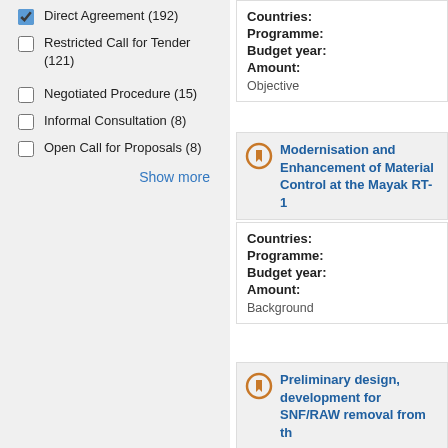Direct Agreement (192)
Restricted Call for Tender (121)
Negotiated Procedure (15)
Informal Consultation (8)
Open Call for Proposals (8)
Show more
Countries:
Programme:
Budget year:
Amount:
Objective
Modernisation and Enhancement of Material Control at the Mayak RT-1
Countries:
Programme:
Budget year:
Amount:
Background
Preliminary design, development for SNF/RAW removal from th